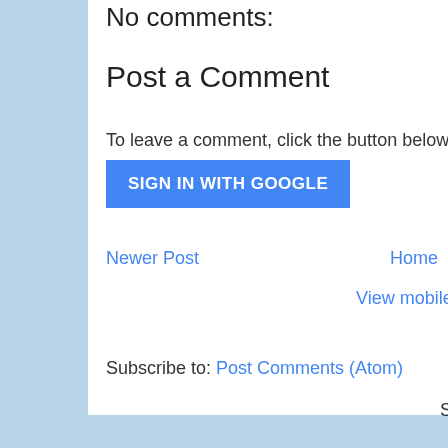No comments:
Post a Comment
To leave a comment, click the button below to sign i
SIGN IN WITH GOOGLE
Newer Post
Home
View mobile vers
Subscribe to: Post Comments (Atom)